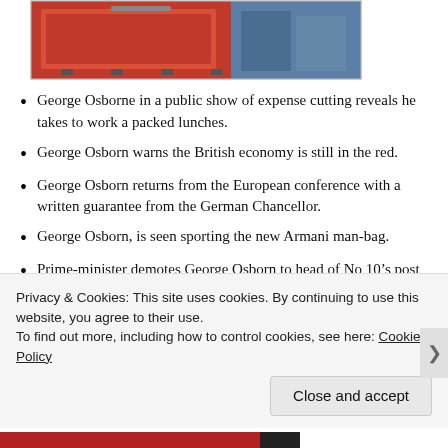[Figure (photo): Partial photograph showing red and blue fabric/clothing, cropped at top of page]
George Osborne in a public show of expense cutting reveals he takes to work a packed lunches.
George Osborn warns the British economy is still in the red.
George Osborn returns from the European conference with a written guarantee from the German Chancellor.
George Osborn, is seen sporting the new Armani man-bag.
Prime-minister demotes George Osborn to head of No 10’s post room.
Privacy & Cookies: This site uses cookies. By continuing to use this website, you agree to their use.
To find out more, including how to control cookies, see here: Cookie Policy